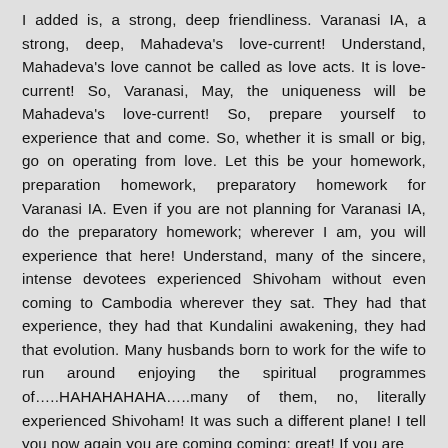I added is, a strong, deep friendliness. Varanasi IA, a strong, deep, Mahadeva's love-current! Understand, Mahadeva's love cannot be called as love acts. It is love-current! So, Varanasi, May, the uniqueness will be Mahadeva's love-current! So, prepare yourself to experience that and come. So, whether it is small or big, go on operating from love. Let this be your homework, preparation homework, preparatory homework for Varanasi IA. Even if you are not planning for Varanasi IA, do the preparatory homework; wherever I am, you will experience that here! Understand, many of the sincere, intense devotees experienced Shivoham without even coming to Cambodia wherever they sat. They had that experience, they had that Kundalini awakening, they had that evolution. Many husbands born to work for the wife to run around enjoying the spiritual programmes of…..HAHAHAHAHA…..many of them, no, literally experienced Shivoham! It was such a different plane! I tell you now again you are coming coming; great! If you are